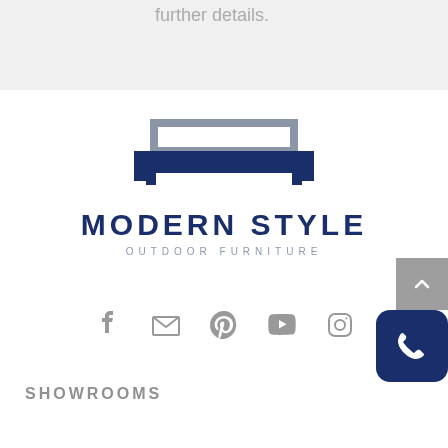further details.
[Figure (logo): Modern Style Outdoor Furniture logo with sofa/couch icon in dark navy blue and gray above the brand name]
MODERN STYLE
OUTDOOR FURNITURE
[Figure (infographic): Row of social media icons: Facebook, Email/Envelope, Pinterest, YouTube, Instagram — all in gray]
SHOWROOMS